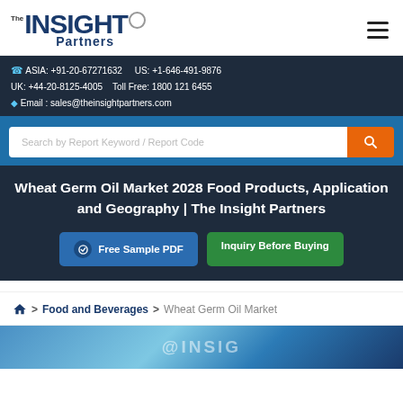The Insight Partners
ASIA: +91-20-67271632   US: +1-646-491-9876   UK: +44-20-8125-4005   Toll Free: 1800 121 6455   Email: sales@theinsightpartners.com
[Figure (screenshot): Search bar with placeholder 'Search by Report Keyword / Report Code' and orange search button]
Wheat Germ Oil Market 2028 Food Products, Application and Geography | The Insight Partners
Free Sample PDF   Inquiry Before Buying
Home > Food and Beverages > Wheat Germ Oil Market
[Figure (photo): Bottom preview image area with blue gradient background showing partial Insight Partners logo]